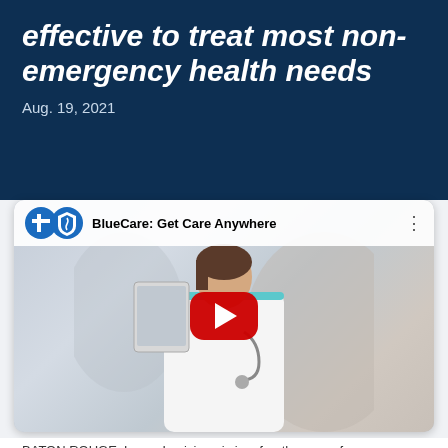effective to treat most non-emergency health needs
Aug. 19, 2021
[Figure (screenshot): YouTube video thumbnail titled 'BlueCare: Get Care Anywhere' showing a female nurse in white uniform holding a tablet and wearing a stethoscope, with a YouTube play button overlay and the Blue Cross Blue Shield logo in the top bar.]
BATON ROUGE, La. — Louisiana is in a fourth surge of